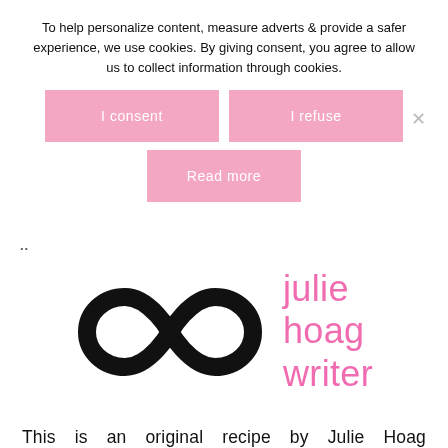To help personalize content, measure adverts & provide a safer experience, we use cookies. By giving consent, you agree to allow us to collect information through cookies.
I consent
I refuse
Read more
×
..
[Figure (logo): Julie Hoag Writer logo with infinity symbol in black and pink text reading 'julie hoag writer']
This is an original recipe by Julie Hoag